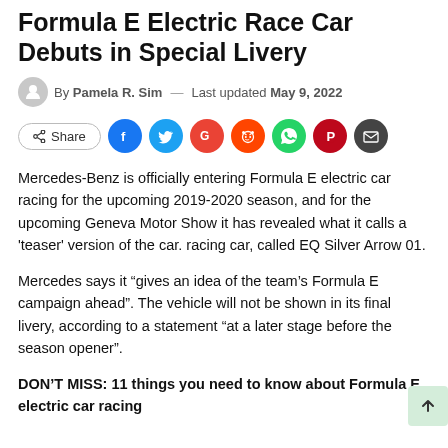Formula E Electric Race Car Debuts in Special Livery
By Pamela R. Sim — Last updated May 9, 2022
[Figure (infographic): Social share buttons row: Share button, Facebook, Twitter, Google+, Reddit, WhatsApp, Pinterest, Email icons]
Mercedes-Benz is officially entering Formula E electric car racing for the upcoming 2019-2020 season, and for the upcoming Geneva Motor Show it has revealed what it calls a 'teaser' version of the car. racing car, called EQ Silver Arrow 01.
Mercedes says it “gives an idea of the team’s Formula E campaign ahead”. The vehicle will not be shown in its final livery, according to a statement “at a later stage before the season opener”.
DON’T MISS: 11 things you need to know about Formula E electric car racing